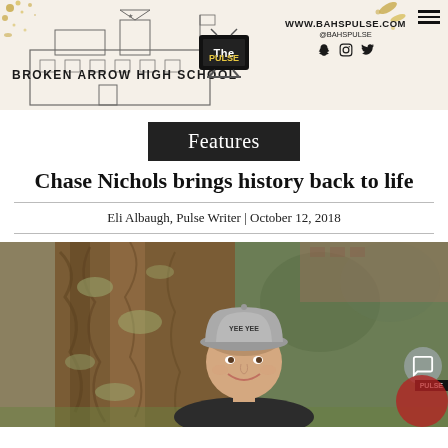Broken Arrow High School | The Pulse | www.bahspulse.com @bahspulse
Features
Chase Nichols brings history back to life
Eli Albaugh, Pulse Writer | October 12, 2018
[Figure (photo): Young man wearing a grey 'Yee Yee' trucker cap and dark t-shirt, smiling, standing in front of a large tree with textured bark and a brick building partially visible in background.]